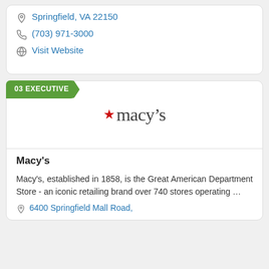6800 Springfield Mall, Springfield, VA 22150
(703) 971-3000
Visit Website
03 EXECUTIVE
[Figure (logo): Macy's logo with red star and stylized text]
Macy's
Macy's, established in 1858, is the Great American Department Store - an iconic retailing brand over 740 stores operating …
6400 Springfield Mall Road,